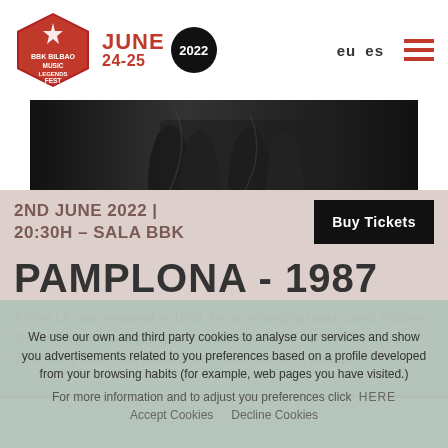BBK Bilbao Music Legends Fest | JUNE 24-25 2022 | eu es
[Figure (photo): Black and white photo showing lower body/legs of performers in leather clothing]
2ND JUNE 2022 | 20:30H - SALA BBK
Buy Tickets
PAMPLONA - 1987
A mini-LP was released in 1988, by an emerging band called Tahúres Zurdos. A promising group is discovered, with a front woman, something that is not usual in the music scene. A woman
We use our own and third party cookies to analyse our services and show you advertisements related to you preferences based on a profile developed from your browsing habits (for example, web pages you have visited.)
For more information and to adjust you preferences click   HERE
Accept Cookies   Decline Cookies